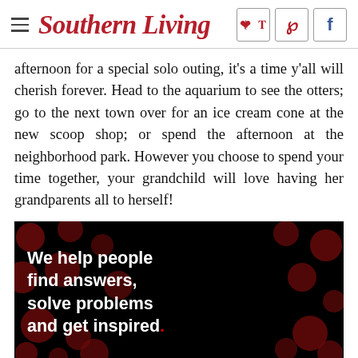Southern Living
afternoon for a special solo outing, it's a time y'all will cherish forever. Head to the aquarium to see the otters; go to the next town over for an ice cream cone at the new scoop shop; or spend the afternoon at the neighborhood park. However you choose to spend your time together, your grandchild will love having her grandparents all to herself!
[Figure (infographic): Black advertisement banner with dark red polka dots pattern in the background. White bold text reads: 'We help people find answers, solve problems and get inspired.' with a red period at the end.]